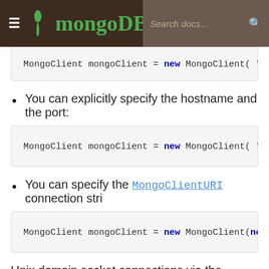MongoDB
[Figure (screenshot): Code block showing: MongoClient mongoClient = new MongoClient( "/tm...]
You can explicitly specify the hostname and the port:
[Figure (screenshot): Code block showing: MongoClient mongoClient = new MongoClient( "hos...]
You can specify the MongoClientURI connection stri...
[Figure (screenshot): Code block showing: MongoClient mongoClient = new MongoClient(new M...]
Unix domain socket connections via the connection string (... path to be urlencoded):